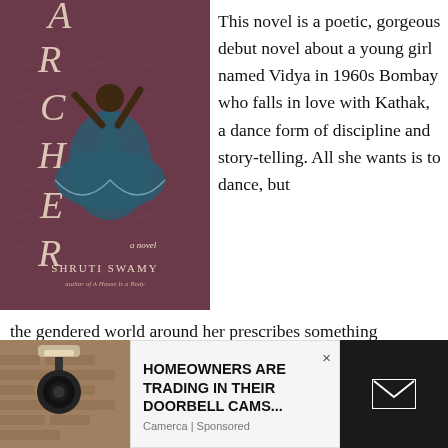[Figure (photo): Book cover of 'The Archer' by Shruti Swamy, showing a dancer in a teal dress spinning on a dark maroon patterned background, with large decorative letters A-R-C-H-E-R vertically arranged, and the author name 'SHRUTI SWAMY' and subtitle 'author of A House Is a Body' at the bottom.]
This novel is a poetic, gorgeous debut novel about a young girl named Vidya in 1960s Bombay who falls in love with Kathak, a dance form of discipline and story-telling. All she wants is to dance, but the gendered world around her prescribes something different: a pressure to marry, have children, and abandon her passion. She has to ... can be lonely
[Figure (photo): Bottom-left photo of a security camera or doorbell mounted on a stone/brick wall exterior]
HOMEOWNERS ARE TRADING IN THEIR DOORBELL CAMS...
Camerca | Sponsored
[Figure (other): Dark panel on right side of ad with white envelope/email icon]